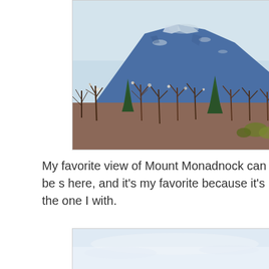[Figure (photo): A photograph of Mount Monadnock in winter or early spring, showing a snow-dusted rocky peak against a pale blue sky, with bare reddish-brown and sparse green trees in the foreground.]
My favorite view of Mount Monadnock can be s here, and it's my favorite because it's the one I with.
[Figure (photo): Partial view of a second photograph showing a pale blue sky, likely another view of Mount Monadnock, cropped at the bottom of the page.]